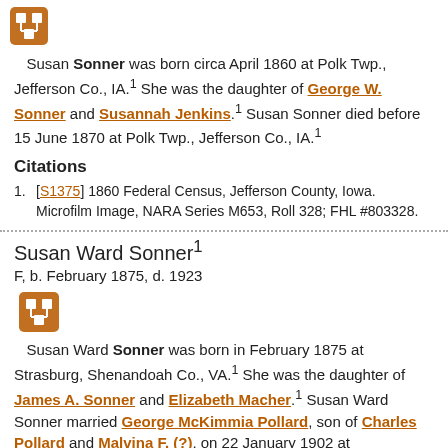[Figure (logo): Orange/brown square icon with a genealogy tree symbol (white squares connected)]
Susan Sonner was born circa April 1860 at Polk Twp., Jefferson Co., IA.1 She was the daughter of George W. Sonner and Susannah Jenkins.1 Susan Sonner died before 15 June 1870 at Polk Twp., Jefferson Co., IA.1
Citations
[S1375] 1860 Federal Census, Jefferson County, Iowa. Microfilm Image, NARA Series M653, Roll 328; FHL #803328.
Susan Ward Sonner1
F, b. February 1875, d. 1923
[Figure (logo): Orange/brown square icon with a genealogy tree symbol (white squares connected)]
Susan Ward Sonner was born in February 1875 at Strasburg, Shenandoah Co., VA.1 She was the daughter of James A. Sonner and Elizabeth Macher.1 Susan Ward Sonner married George McKimmia Pollard, son of Charles Pollard and Malvina F. (?), on 22 January 1902 at Shenandoah Co., VA. Susan Ward Sonner lived in April 1910 at Holliday Street, Strasburg, Shenandoah Co., VA.2 She died in 1923 at Strasburg, Shenandoah Co., VA.